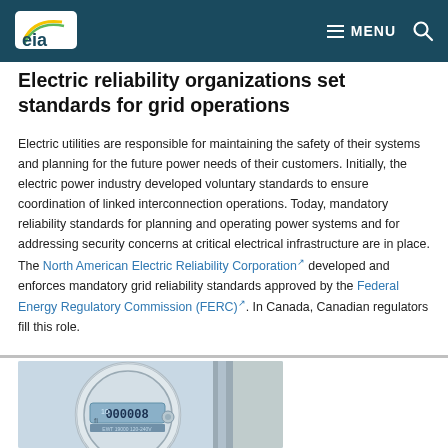EIA — MENU
Electric reliability organizations set standards for grid operations
Electric utilities are responsible for maintaining the safety of their systems and planning for the future power needs of their customers. Initially, the electric power industry developed voluntary standards to ensure coordination of linked interconnection operations. Today, mandatory reliability standards for planning and operating power systems and for addressing security concerns at critical electrical infrastructure are in place. The North American Electric Reliability Corporation developed and enforces mandatory grid reliability standards approved by the Federal Energy Regulatory Commission (FERC). In Canada, Canadian regulators fill this role.
[Figure (photo): Close-up photo of an electric utility meter showing a digital display reading 000008]